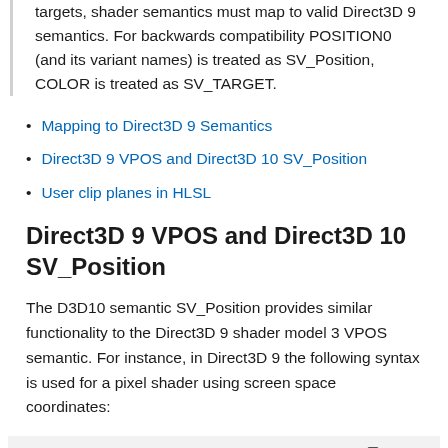targets, shader semantics must map to valid Direct3D 9 semantics. For backwards compatibility POSITION0 (and its variant names) is treated as SV_Position, COLOR is treated as SV_TARGET.
Mapping to Direct3D 9 Semantics
Direct3D 9 VPOS and Direct3D 10 SV_Position
User clip planes in HLSL
Direct3D 9 VPOS and Direct3D 10 SV_Position
The D3D10 semantic SV_Position provides similar functionality to the Direct3D 9 shader model 3 VPOS semantic. For instance, in Direct3D 9 the following syntax is used for a pixel shader using screen space coordinates:
HLSL